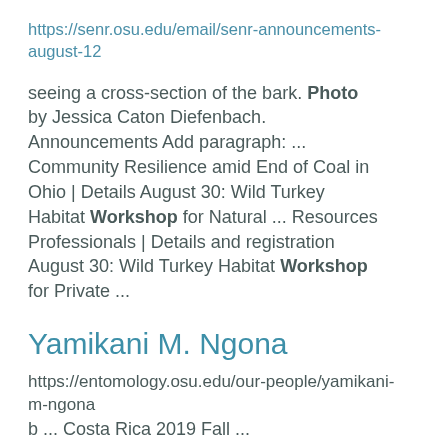https://senr.osu.edu/email/senr-announcements-august-12
seeing a cross-section of the bark. Photo by Jessica Caton Diefenbach. Announcements Add paragraph:  ... Community Resilience amid End of Coal in Ohio | Details August 30: Wild Turkey Habitat Workshop for Natural ... Resources Professionals | Details and registration August 30: Wild Turkey Habitat Workshop for Private ...
Yamikani M. Ngona
https://entomology.osu.edu/our-people/yamikani-m-ngona
b ... Costa Rica 2019 Fall ...